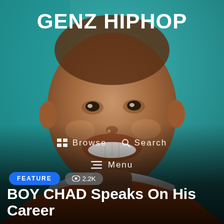[Figure (photo): Close-up portrait of a young smiling Black man wearing an orange and white shirt, against a teal/green background. The image fills the entire page.]
GENZ HIPHOP
Browse  Search
Menu
FEATURE  2.2K
BOY CHAD Speaks On His Career